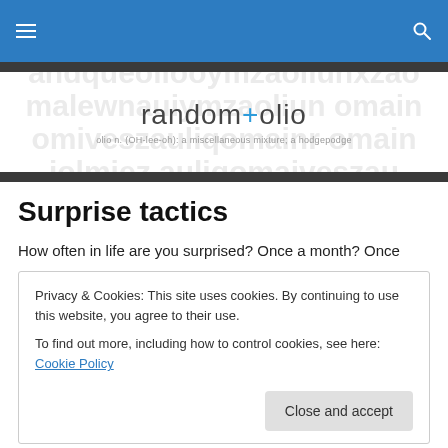random+olio — olio n. (OH-lee-oh): a miscellaneous mixture; a hodgepodge
Surprise tactics
How often in life are you surprised? Once a month? Once
Privacy & Cookies: This site uses cookies. By continuing to use this website, you agree to their use.
To find out more, including how to control cookies, see here: Cookie Policy
Close and accept